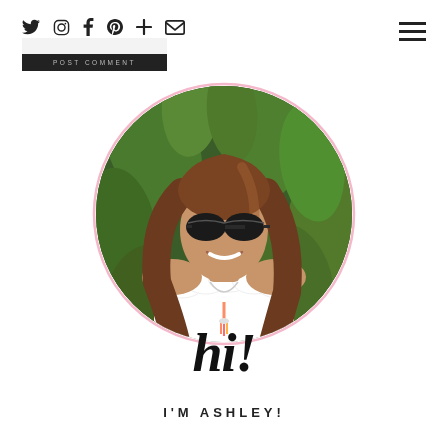Social media icons: Twitter, Instagram, Facebook, Pinterest, Plus, Email
[Figure (photo): Circular profile photo of Ashley, a woman with long brown wavy hair, wearing sunglasses and an off-shoulder white ruffled top with a colorful tassel necklace, standing in front of green tropical foliage. The circle has a pink border. Overlaid text reads 'hi!' in large italic script and 'I'M ASHLEY!' in uppercase tracking below.]
hi!
I'M ASHLEY!